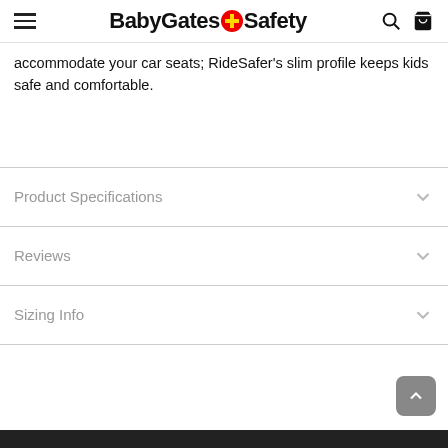BabyGates+Safety
accommodate your car seats; RideSafer's slim profile keeps kids safe and comfortable.
Product Specifications
Reviews
Sizing Info